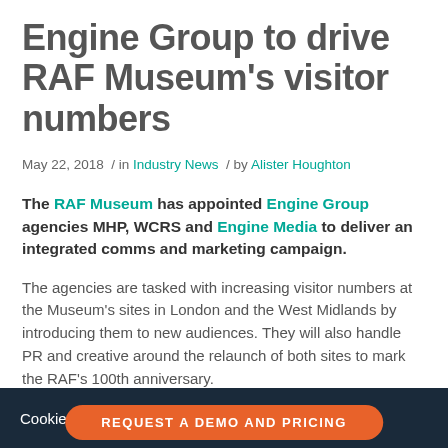Engine Group to drive RAF Museum's visitor numbers
May 22, 2018  /  in Industry News  /  by Alister Houghton
The RAF Museum has appointed Engine Group agencies MHP, WCRS and Engine Media to deliver an integrated comms and marketing campaign.
The agencies are tasked with increasing visitor numbers at the Museum's sites in London and the West Midlands by introducing them to new audiences. They will also handle PR and creative around the relaunch of both sites to mark the RAF's 100th anniversary.
Cookie Policy  REQUEST A DEMO AND PRICING